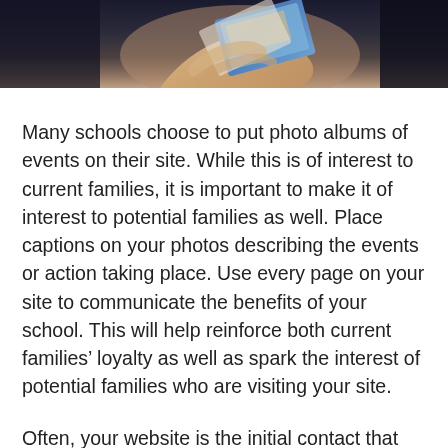[Figure (photo): A person holding photographs or photo cards in their hands, partially visible against a dark background. The image is cropped showing the top portion of the scene.]
Many schools choose to put photo albums of events on their site. While this is of interest to current families, it is important to make it of interest to potential families as well. Place captions on your photos describing the events or action taking place. Use every page on your site to communicate the benefits of your school. This will help reinforce both current families’ loyalty as well as spark the interest of potential families who are visiting your site.
Often, your website is the initial contact that